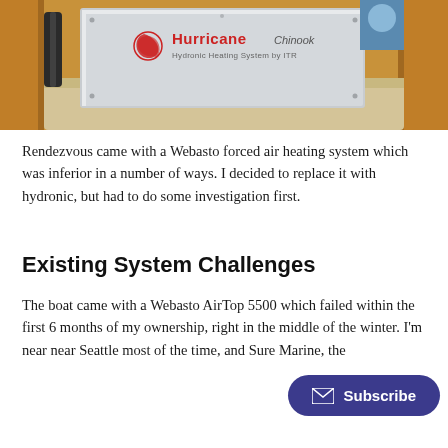[Figure (photo): Photo of a Hurricane Chinook Hydronic Heating System by ITR unit installed inside a boat cabin, showing the silver metal unit with the Hurricane logo and label, surrounded by wooden cabinetry and beige fabric.]
Rendezvous came with a Webasto forced air heating system which was inferior in a number of ways. I decided to replace it with hydronic, but had to do some investigation first.
Existing System Challenges
The boat came with a Webasto AirTop 5500 which failed within the first 6 months of my ownership, right in the middle of the winter. I'm near Seattle most of the time, and Sure Marine, the